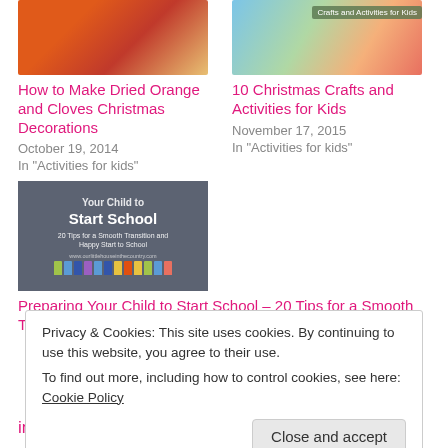[Figure (photo): Thumbnail image of dried orange and cloves decoration (partial, top cropped)]
How to Make Dried Orange and Cloves Christmas Decorations
October 19, 2014
In "Activities for kids"
[Figure (photo): Thumbnail image for 10 Christmas Crafts and Activities for Kids with colored background and overlay text]
10 Christmas Crafts and Activities for Kids
November 17, 2015
In "Activities for kids"
[Figure (photo): Thumbnail image showing text: Your Child to Start School - 20 Tips for a Smooth Transition and Happy Start to School, with colorful crayons at bottom on grey background]
Preparing Your Child to Start School – 20 Tips for a Smooth Transition and Happy Start to School
Privacy & Cookies: This site uses cookies. By continuing to use this website, you agree to their use.
To find out more, including how to control cookies, see here: Cookie Policy
Close and accept
interiors, wreathes